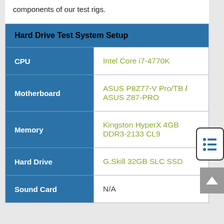components of our test rigs.
| Hard Drive Test System Setup |  |
| --- | --- |
| CPU | Intel Core i7-4770K |
| Motherboard | ASUS P8Z77-V Pro/TB / ASUS Z87-PRO |
| Memory | Kingston HyperX 4GB DDR3-2133 CL9 |
| Hard Drive | G.Skill 32GB SLC SSD |
| Sound Card | N/A |